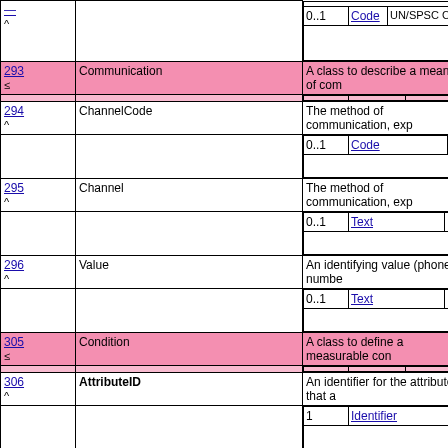| # | Name | Description/Type/Cardinality |
| --- | --- | --- |
| ^ |  | 0..1 | Code | UN/SPSC C |
| 293 ≤ | Communication | A class to describe a means of com... |
| 294 ^ | ChannelCode | The method of communication, exp... | 0..1 | Code |
| 295 ^ | Channel | The method of communication, exp... | 0..1 | Text |
| 296 ^ | Value | An identifying value (phone numbe... | 0..1 | Text |
| 305 ≤ | Condition | A class to define a measurable con... |
| 306 ^ | AttributeID | An identifier for the attribute that a... | 1 | Identifier |
| 307 ^ | Measure | The measurement value. | 0..1 | Measure |
| 308 ^ | Description | Text describing the attribute that ap... | 0..n | Text |